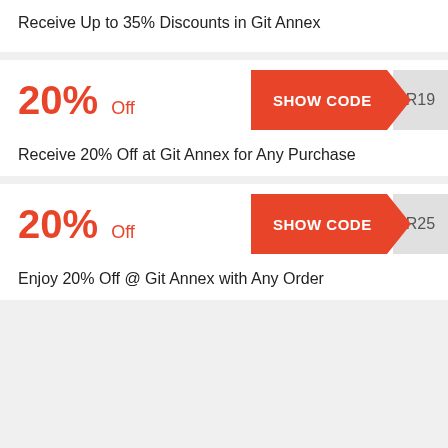Receive Up to 35% Discounts in Git Annex
20% Off
SHOW CODE R19
Receive 20% Off at Git Annex for Any Purchase
20% Off
SHOW CODE R25
Enjoy 20% Off @ Git Annex with Any Order